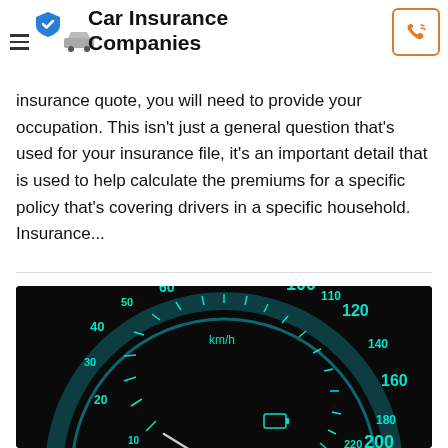Car Insurance Companies
insurance quote, you will need to provide your occupation. This isn't just a general question that's used for your insurance file, it's an important detail that is used to help calculate the premiums for a specific policy that's covering drivers in a specific household. Insurance...
[Figure (photo): Close-up photo of a car speedometer with teal/cyan glowing numbers on a black background, showing km/h scale from 10 to 220, with needle pointing near zero.]